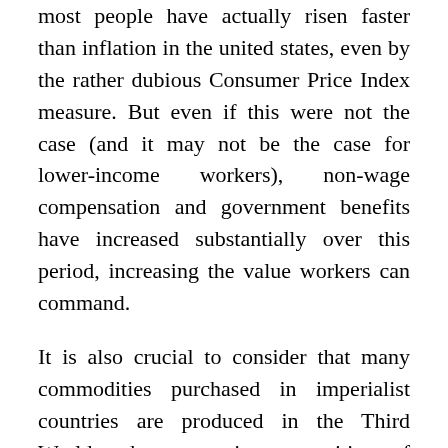most people have actually risen faster than inflation in the united states, even by the rather dubious Consumer Price Index measure. But even if this were not the case (and it may not be the case for lower-income workers), non-wage compensation and government benefits have increased substantially over this period, increasing the value workers can command.
It is also crucial to consider that many commodities purchased in imperialist countries are produced in the Third World, where organic composition of capital tends to be lower and the rate of surplus value tends to be higher. Meanwhile, there is relative mobility of constant capital between industries in the First World and industries in the Third World, leading to the formation of a general rate of profit between them. This creates a situation in which the prices of commodities produced in the Third World systematically underestimate their value. In other words, when First World workers purchase goods produced in the Third World, they will